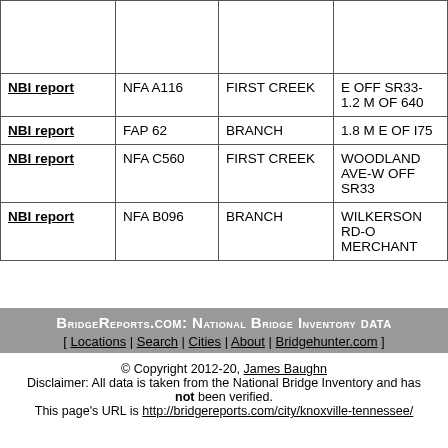|  |  |  |  |
| --- | --- | --- | --- |
|  |  |  |  |
| NBI report | NFA A116 | FIRST CREEK | E OFF SR33-1.2 M OF 640 |
| NBI report | FAP 62 | BRANCH | 1.8 M E OF I75 |
| NBI report | NFA C560 | FIRST CREEK | WOODLAND AVE-W OFF SR33 |
| NBI report | NFA B096 | BRANCH | WILKERSON RD-O MERCHANT |
BridgeReports.com: National Bridge Inventory Data
[ Locations | Search | Cities | About | Bridgehunter.com ]
© Copyright 2012-20, James Baughn
Disclaimer: All data is taken from the National Bridge Inventory and has not been verified.
This page's URL is http://bridgereports.com/city/knoxville-tennessee/